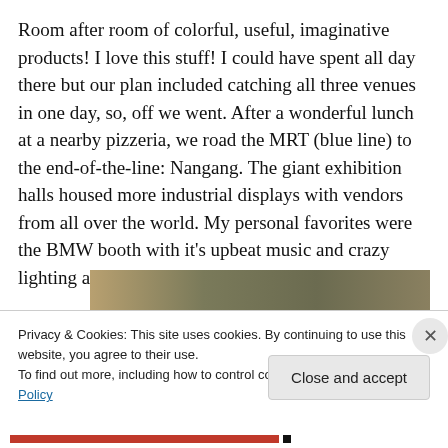Room after room of colorful, useful, imaginative products! I love this stuff! I could have spent all day there but our plan included catching all three venues in one day, so, off we went. After a wonderful lunch at a nearby pizzeria, we road the MRT (blue line) to the end-of-the-line: Nangang. The giant exhibition halls housed more industrial displays with vendors from all over the world. My personal favorites were the BMW booth with it’s upbeat music and crazy lighting and a local handbag designer:
[Figure (photo): Partial photo of handbags on display, showing a gradient from tan/beige to dark olive/grey tones, partially obscured by the cookie consent overlay.]
Privacy & Cookies: This site uses cookies. By continuing to use this website, you agree to their use.
To find out more, including how to control cookies, see here: Cookie Policy